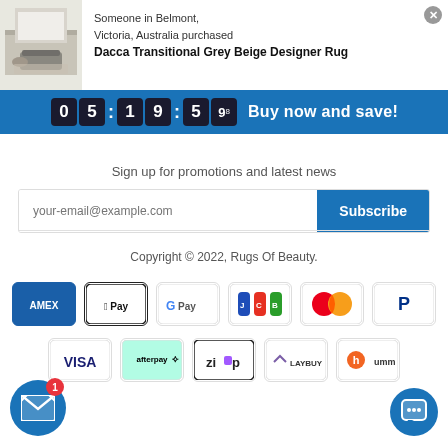[Figure (screenshot): Popup notification showing a room with grey rug image on the left, text 'Someone in Belmont, Victoria, Australia purchased Dacca Transitional Grey Beige Designer Rug' on the right with a close X button]
[Figure (infographic): Blue countdown timer bar showing 05:19:59 with text 'Buy now and save!']
Sign up for promotions and latest news
[Figure (screenshot): Email subscription form with placeholder 'your-email@example.com' and blue Subscribe button]
Copyright © 2022, Rugs Of Beauty.
[Figure (infographic): Payment method icons row 1: American Express, Apple Pay, Google Pay, JCB, Mastercard, PayPal]
[Figure (infographic): Payment method icons row 2: Visa, Afterpay, Zip, Laybuy, Humm, plus email icon with badge and chat icon]